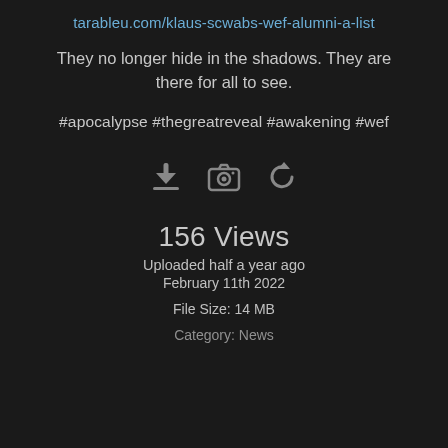tarableu.com/klaus-scwabs-wef-alumni-a-list
They no longer hide in the shadows. They are there for all to see.
#apocalypse #thegreatreveal #awakening #wef
[Figure (other): Three icons: download arrow, camera, and refresh/reload symbol]
156 Views
Uploaded half a year ago
February 11th 2022
File Size: 14 MB
Category: News